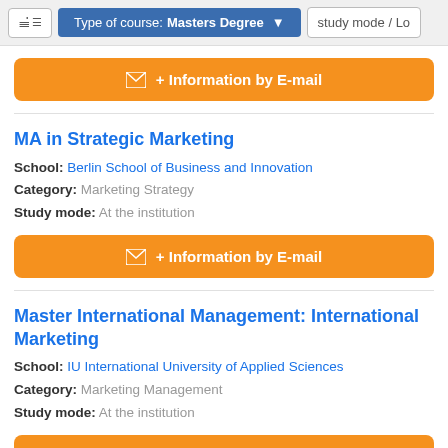Type of course: Masters Degree  study mode / Lo
+ Information by E-mail
MA in Strategic Marketing
School: Berlin School of Business and Innovation
Category: Marketing Strategy
Study mode: At the institution
+ Information by E-mail
Master International Management: International Marketing
School: IU International University of Applied Sciences
Category: Marketing Management
Study mode: At the institution
+ Information by E-mail